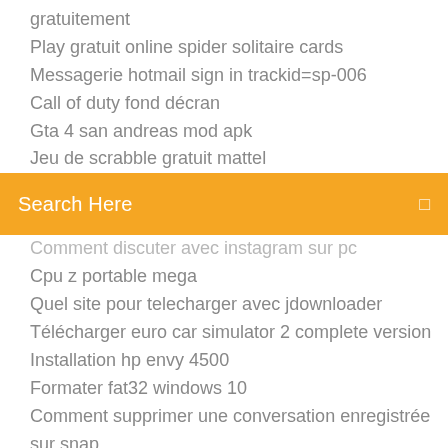gratuitement
Play gratuit online spider solitaire cards
Messagerie hotmail sign in trackid=sp-006
Call of duty fond décran
Gta 4 san andreas mod apk
Jeu de scrabble gratuit mattel
[Figure (screenshot): Orange/yellow search bar with text 'Search Here' in white and a small icon on the right]
Comment discuter avec instagram sur pc
Cpu z portable mega
Quel site pour telecharger avec jdownloader
Télécharger euro car simulator 2 complete version
Installation hp envy 4500
Formater fat32 windows 10
Comment supprimer une conversation enregistrée sur snap
Demo version euro truck simulator 2
Application ios pour screenshot snapchat
Transformer musique en mp3 gratuit
Jeu de scrabble gratuit mattel